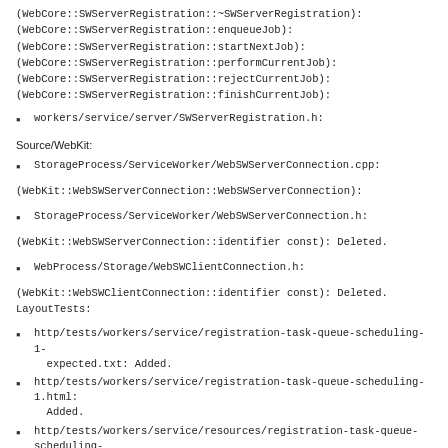(WebCore::SWServerRegistration::~SWServerRegistration):
(WebCore::SWServerRegistration::enqueueJob):
(WebCore::SWServerRegistration::startNextJob):
(WebCore::SWServerRegistration::performCurrentJob):
(WebCore::SWServerRegistration::rejectCurrentJob):
(WebCore::SWServerRegistration::finishCurrentJob):
workers/service/server/SWServerRegistration.h:
Source/WebKit:
StorageProcess/ServiceWorker/WebSWServerConnection.cpp:
(WebKit::WebSWServerConnection::WebSWServerConnection):
StorageProcess/ServiceWorker/WebSWServerConnection.h:
(WebKit::WebSWServerConnection::identifier const): Deleted.
WebProcess/Storage/WebSWClientConnection.h:
(WebKit::WebSWClientConnection::identifier const): Deleted.
LayoutTests:
http/tests/workers/service/registration-task-queue-scheduling-1-expected.txt: Added.
http/tests/workers/service/registration-task-queue-scheduling-1.html: Added.
http/tests/workers/service/resources/registration-task-queue-scheduling-1-second-window.html: Added.